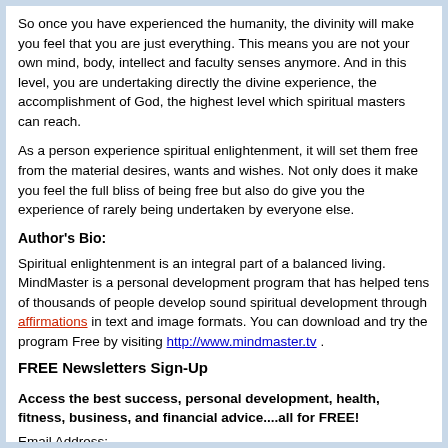So once you have experienced the humanity, the divinity will make you feel that you are just everything. This means you are not your own mind, body, intellect and faculty senses anymore. And in this level, you are undertaking directly the divine experience, the accomplishment of God, the highest level which spiritual masters can reach.
As a person experience spiritual enlightenment, it will set them free from the material desires, wants and wishes. Not only does it make you feel the full bliss of being free but also do give you the experience of rarely being undertaken by everyone else.
Author's Bio:
Spiritual enlightenment is an integral part of a balanced living. MindMaster is a personal development program that has helped tens of thousands of people develop sound spiritual development through affirmations in text and image formats. You can download and try the program Free by visiting http://www.mindmaster.tv .
FREE Newsletters Sign-Up
Access the best success, personal development, health, fitness, business, and financial advice....all for FREE!
Email Address: